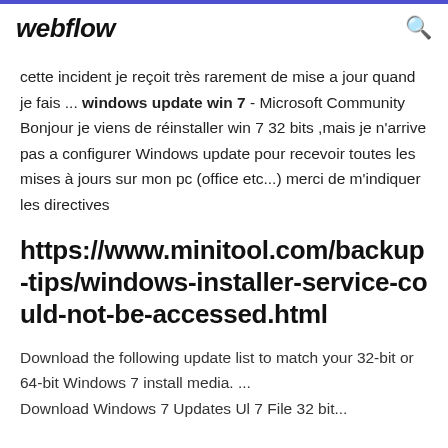webflow
cette incident je reçoit très rarement de mise a jour quand je fais ... windows update win 7 - Microsoft Community Bonjour je viens de réinstaller win 7 32 bits ,mais je n'arrive pas a configurer Windows update pour recevoir toutes les mises à jours sur mon pc (office etc...) merci de m'indiquer les directives
https://www.minitool.com/backup-tips/windows-installer-service-could-not-be-accessed.html
Download the following update list to match your 32-bit or 64-bit Windows 7 install media. ... Download Windows 7 Updates Ul 7 File 32 bit...